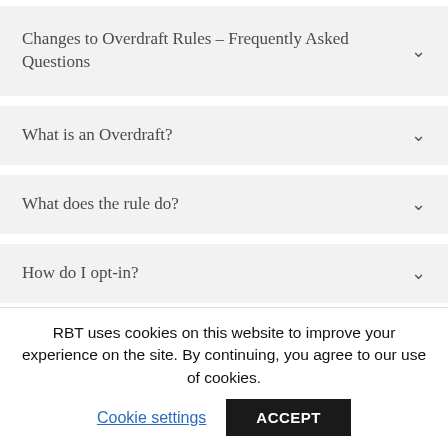Changes to Overdraft Rules – Frequently Asked Questions
What is an Overdraft?
What does the rule do?
How do I opt-in?
RBT uses cookies on this website to improve your experience on the site. By continuing, you agree to our use of cookies.
Cookie settings
ACCEPT